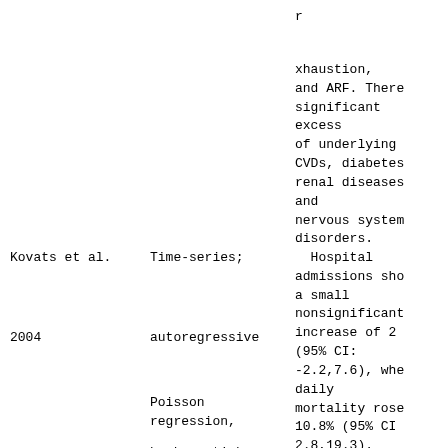r
xhaustion,
and ARF. There
significant
excess
of underlying
CVDs, diabetes
renal diseases
and
nervous system
disorders.
Kovats et al.
Time-series;
Hospital
admissions sho
a small
nonsignificant
increase of 2
(95% CI:
-2.2,7.6), whe
daily
mortality rose
10.8% (95% CI
2.8,19.3).
2004
autoregressive
Poisson
regression,
hockey-stick